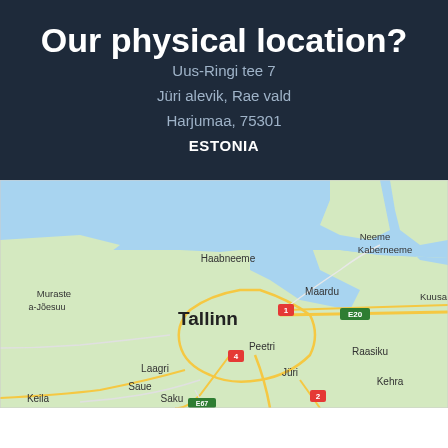Our physical location?
Uus-Ringi tee 7
Jüri alevik, Rae vald
Harjumaa, 75301
ESTONIA
[Figure (map): Google Maps view centered on Tallinn, Estonia, showing surrounding areas including Haabneeme, Neeme, Kaberneeme, Muraste, Maardu, Kuusa, Tallinn, Peetri, Laagri, Saue, Saku, Jüri, Raasiku, Kehra, and road markings including E20 and route numbers 1, 2, 4, E67.]